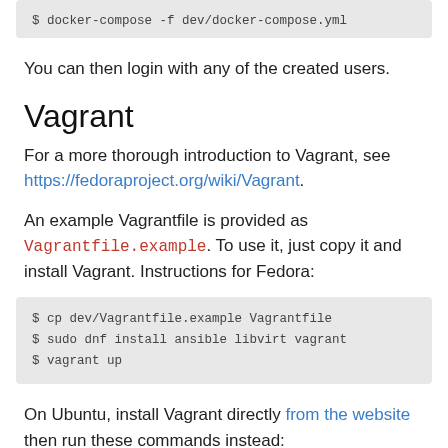$ docker-compose -f dev/docker-compose.yml
You can then login with any of the created users.
Vagrant
For a more thorough introduction to Vagrant, see https://fedoraproject.org/wiki/Vagrant.
An example Vagrantfile is provided as Vagrantfile.example. To use it, just copy it and install Vagrant. Instructions for Fedora:
$ cp dev/Vagrantfile.example Vagrantfile
$ sudo dnf install ansible libvirt vagrant
$ vagrant up
On Ubuntu, install Vagrant directly from the website then run these commands instead: